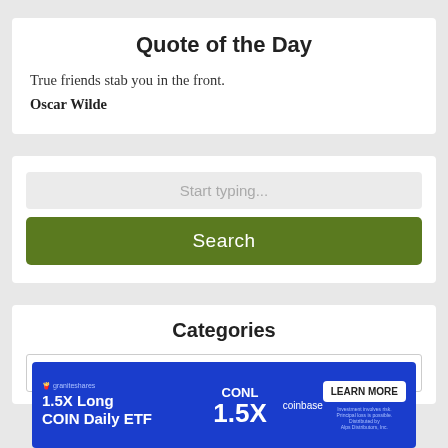Quote of the Day
True friends stab you in the front.
Oscar Wilde
Start typing...
Search
Categories
Select Category
[Figure (other): Advertisement banner: GraniteShares CONL 1.5X Long COIN Daily ETF, coinbase, LEARN MORE button]